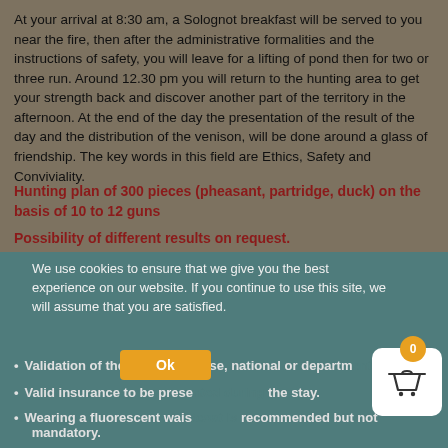At your arrival at 8:30 am, a Solognot breakfast will be served to you near the fire, then after the administrative formalities and the instructions of safety, you will leave for a lifting of pond then for two or three run. Around 12.30 pm you will return to the hunting area to get your strength back and discover another part of the territory in the afternoon. At the end of the day the presentation of the result of the day and the distribution of the venison, will be done around a glass of friendship. The key words in this field are Ethics, Safety and Conviviality.
Hunting plan of 300 pieces (pheasant, partridge, duck) on the basis of 10 to 12 guns
Possibility of different results on request.
We use cookies to ensure that we give you the best experience on our website. If you continue to use this site, we will assume that you are satisfied.
Validation of the hunting license, national or departmental...
Valid insurance to be presented during the stay.
Wearing a fluorescent waistcoat is recommended but not mandatory.